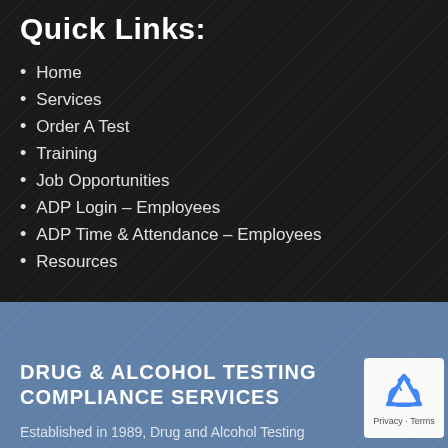Quick Links:
Home
Services
Order A Test
Training
Job Opportunities
ADP Login – Employees
ADP Time & Attendance – Employees
Resources
DRUG & ALCOHOL TESTING COMPLIANCE SERVICES
Established in 1989, Drug and Alcohol Testing